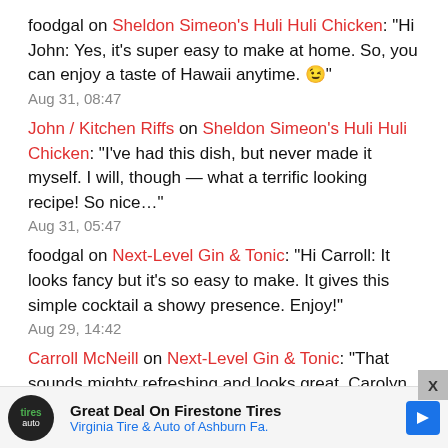foodgal on Sheldon Simeon's Huli Huli Chicken: "Hi John: Yes, it's super easy to make at home. So, you can enjoy a taste of Hawaii anytime. 😉"
Aug 31, 08:47
John / Kitchen Riffs on Sheldon Simeon's Huli Huli Chicken: "I've had this dish, but never made it myself. I will, though — what a terrific looking recipe! So nice…"
Aug 31, 05:47
foodgal on Next-Level Gin & Tonic: "Hi Carroll: It looks fancy but it's so easy to make. It gives this simple cocktail a showy presence. Enjoy!"
Aug 29, 14:42
Carroll McNeill on Next-Level Gin & Tonic: "That sounds mighty refreshing and looks great, Carolyn. Pretty sure
Great Deal On Firestone Tires Virginia Tire & Auto of Ashburn Fa.